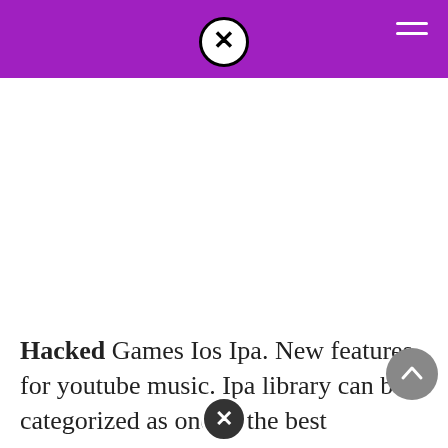Hacked Games Ios Ipa — site header with logo and hamburger menu
Hacked Games Ios Ipa. New features for youtube music. Ipa library can be categorized as one of the best